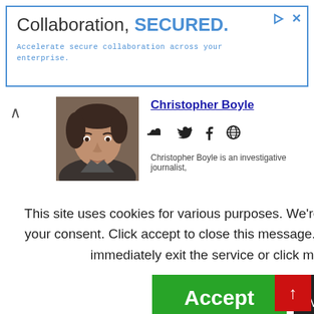[Figure (infographic): Advertisement banner: 'Collaboration, SECURED.' with subtitle 'Accelerate secure collaboration across your enterprise.' Blue border, play and X icons top right.]
[Figure (photo): Headshot photo of Christopher Boyle, male, dark hair]
Christopher Boyle
[Figure (infographic): Social media icons: SoundCloud, Twitter, Facebook, Globe]
Christopher Boyle is an investigative journalist,
ARCHEN
ndependent n the United wide variety of nt events, crime, featured in print tions, from local en-eye on or The Published
This site uses cookies for various purposes. We're legally required to request your consent. Click accept to close this message. If you do not agree, please immediately exit the service or click more to learn why.
Accept
More
Flipboard
Digital Magazine